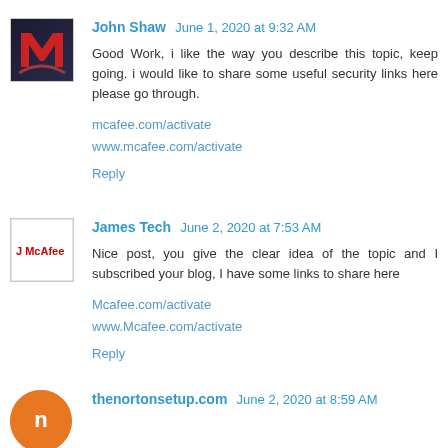John Shaw  June 1, 2020 at 9:32 AM
Good Work, i like the way you describe this topic, keep going. i would like to share some useful security links here please go through.
mcafee.com/activate
www.mcafee.com/activate
Reply
James Tech  June 2, 2020 at 7:53 AM
Nice post, you give the clear idea of the topic and I subscribed your blog, I have some links to share here
Mcafee.com/activate
www.Mcafee.com/activate
Reply
thenortonsetup.com  June 2, 2020 at 8:59 AM